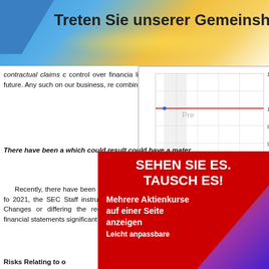[Figure (illustration): Blue and gold/yellow banner with text 'Treten Sie unserer Gemeinschaft bei' (partially visible), with blue geometric shape on left and flowing golden wave design]
contractual claims or other disputes related to our control over financial reporting could result in litigation or dispute. Any such changes in the future. Any such on our business, re combination.
[Figure (line-chart): Line chart showing a flat red line at value 10, with y-axis from ~9.6 to 10.2, x-axis from 1100 to 2100. Pre label visible. Source: (c) www.advfn.com]
Recently, there have been changes to the accepted accounting fo 2021, the SEC Staff instruments issued changes in the acce Changes or differing the recognition of restatements of prev financial statements significant deficiencie material adverse imp
[Figure (illustration): Red advertisement overlay with white bold text: 'SEHEN SIE ES. TAUSCH ES!' and subtitle 'Mehrere Aktienkurse auf einer Seite anzeigen' and partially visible 'Leicht anpassbare'. Decorative colorful diagonal stripe on bottom right.]
Risks Relating to o